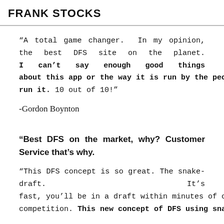FRANK STOCKS
“A total game changer. In my opinion, the best DFS site on the planet. I can’t say enough good things about this app or the way it is run by the people who run it. 10 out of 10!”
-Gordon Boynton
“Best DFS on the market, why? Customer Service that’s why.
“This DFS concept is so great. The snake-draft. It’s fast, you’ll be in a draft within minutes of choosing a competition. This new concept of DFS using snake-